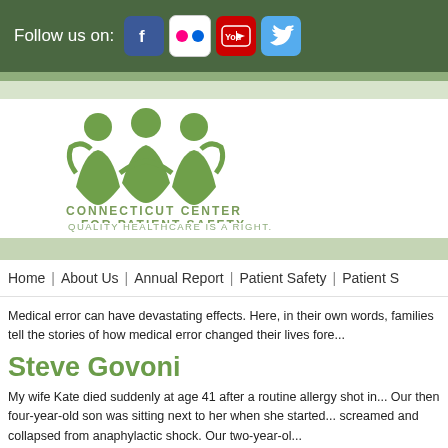Follow us on: [Facebook] [Flickr] [YouTube] [Twitter]
[Figure (logo): Connecticut Center for Patient Safety logo with three stylized green figures and text: CONNECTICUT CENTER FOR PATIENT SAFETY — QUALITY HEALTHCARE IS A RIGHT.]
Home  |  About Us  |  Annual Report  |  Patient Safety  |  Patient S...
Medical error can have devastating effects. Here, in their own words, families tell the stories of how medical error changed their lives fore...
Steve Govoni
My wife Kate died suddenly at age 41 after a routine allergy shot in... Our then four-year-old son was sitting next to her when she started... screamed and collapsed from anaphylactic shock. Our two-year-ol...